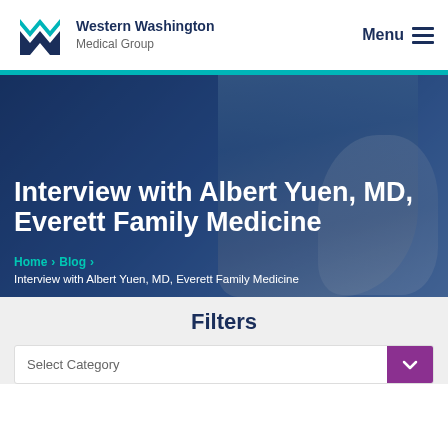[Figure (logo): Western Washington Medical Group logo — stylized M/W mark in teal and dark navy]
Western Washington Medical Group  Menu
Interview with Albert Yuen, MD, Everett Family Medicine
Home > Blog > Interview with Albert Yuen, MD, Everett Family Medicine
Filters
Select Category